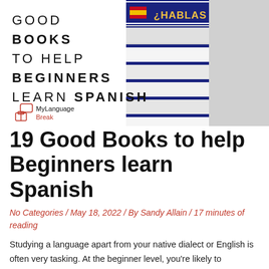[Figure (photo): Banner image showing a stack of books with the text '¿HABLAS ESPAÑOL?' on the top book with a Spanish flag icon. Red circular arc border overlays the left portion. Left side shows the article title text: GOOD BOOKS TO HELP BEGINNERS LEARN SPANISH in spaced uppercase letters.]
[Figure (logo): MyLanguageBreak logo with a speech bubble and suitcase icon in red outline, with text 'MyLanguage' in black and 'Break' in red.]
19 Good Books to help Beginners learn Spanish
No Categories / May 18, 2022 / By Sandy Allain / 17 minutes of reading
Studying a language apart from your native dialect or English is often very tasking. At the beginner level, you're likely to encounter a number of challenges as you try to